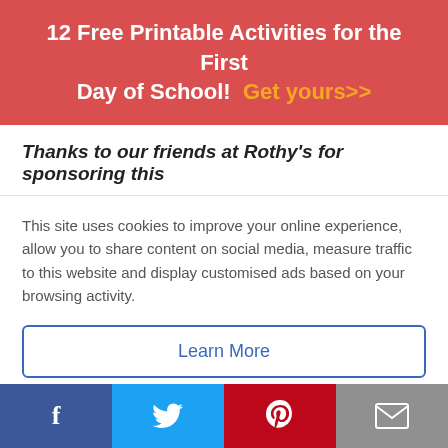12 Free Printable Activities for the First Day of School!  Get yours>>
Thanks to our friends at Rothy’s for sponsoring this
This site uses cookies to improve your online experience, allow you to share content on social media, measure traffic to this website and display customised ads based on your browsing activity.
Learn More
Accept